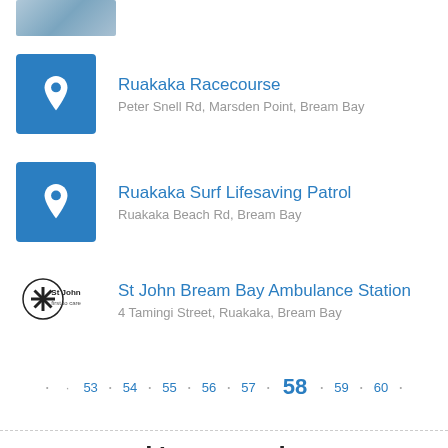[Figure (photo): Partial image at top of page, appears to be a landscape/outdoor scene in blue-grey tones]
Ruakaka Racecourse
Peter Snell Rd, Marsden Point, Bream Bay
Ruakaka Surf Lifesaving Patrol
Ruakaka Beach Rd, Bream Bay
St John Bream Bay Ambulance Station
4 Tamingi Street, Ruakaka, Bream Bay
· · 53 · 54 · 55 · 56 · 57 · 58 · 59 · 60 ·
our network's top stories
[Figure (logo): The Dominion Post logo in teal/blue small-caps serif font]
[Figure (logo): The Press logo in bold blue uppercase serif font]